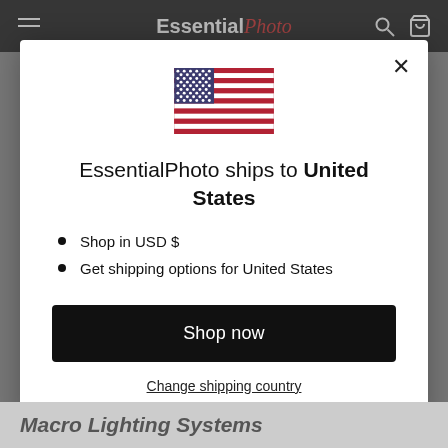EssentialPhoto
[Figure (screenshot): Modal popup dialog on the EssentialPhoto website showing a US flag, shipping destination message, bullet points about USD and shipping options, a Shop now button, and a Change shipping country link]
EssentialPhoto ships to United States
Shop in USD $
Get shipping options for United States
Shop now
Change shipping country
Macro Lighting Systems